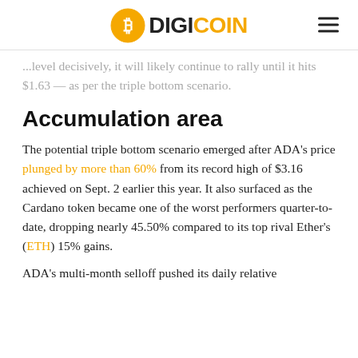DIGICOIN
...level decisively, it will likely continue to rally until it hits $1.63 — as per the triple bottom scenario.
Accumulation area
The potential triple bottom scenario emerged after ADA's price plunged by more than 60% from its record high of $3.16 achieved on Sept. 2 earlier this year. It also surfaced as the Cardano token became one of the worst performers quarter-to-date, dropping nearly 45.50% compared to its top rival Ether's (ETH) 15% gains.
ADA's multi-month selloff pushed its daily relative